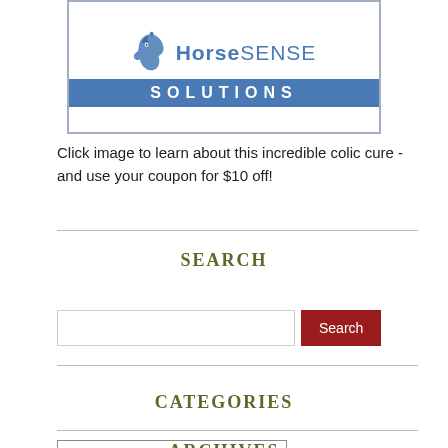[Figure (logo): HorseSense Solutions logo with horse head graphic and blue banner reading SOLUTIONS]
Click image to learn about this incredible colic cure - and use your coupon for $10 off!
SEARCH
CATEGORIES
ARCHIVES